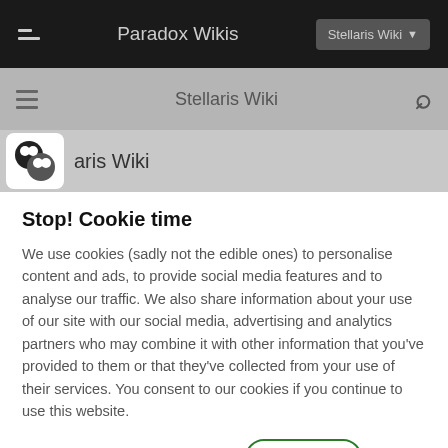Paradox Wikis | Stellaris Wiki
Stellaris Wiki
aris Wiki
Stop! Cookie time
We use cookies (sadly not the edible ones) to personalise content and ads, to provide social media features and to analyse our traffic. We also share information about your use of our site with our social media, advertising and analytics partners who may combine it with other information that you've provided to them or that they've collected from your use of their services. You consent to our cookies if you continue to use this website.
Manage cookies
I ACCEPT